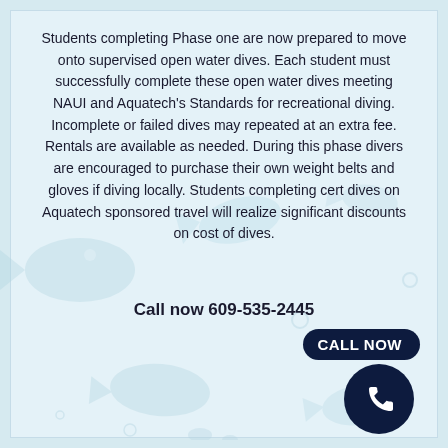Students completing Phase one are now prepared to move onto supervised open water dives. Each student must successfully complete these open water dives meeting NAUI and Aquatech's Standards for recreational diving. Incomplete or failed dives may repeated at an extra fee. Rentals are available as needed. During this phase divers are encouraged to purchase their own weight belts and gloves if diving locally. Students completing cert dives on Aquatech sponsored travel will realize significant discounts on cost of dives.
Call now 609-535-2445
[Figure (other): Dark navy 'CALL NOW' pill button with a phone icon circle below it, bottom-right corner]